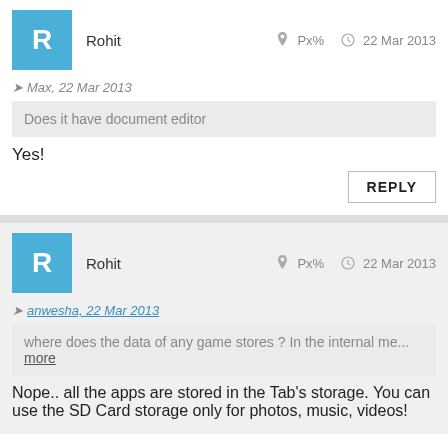R  Rohit  Px%  22 Mar 2013
Max, 22 Mar 2013
Does it have document editor
Yes!
REPLY
R  Rohit  Px%  22 Mar 2013
anwesha, 22 Mar 2013
where does the data of any game stores ? In the internal me... more
Nope.. all the apps are stored in the Tab's storage. You can use the SD Card storage only for photos, music, videos!